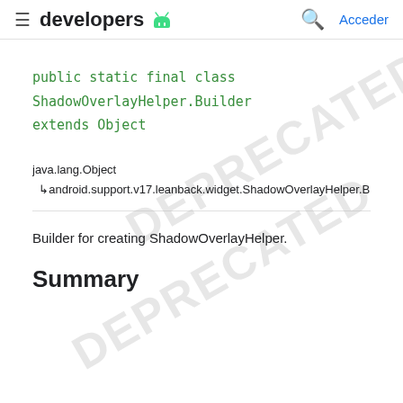≡ developers 🤖  🔍 Acceder
java.lang.Object
  ↳ android.support.v17.leanback.widget.ShadowOverlayHelper.Bu
Builder for creating ShadowOverlayHelper.
Summary